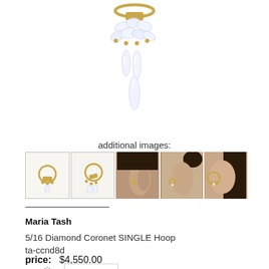[Figure (photo): Main product image of a gold diamond coronet single hoop earring with crystal/diamond drops, shown isolated on white background]
additional images:
[Figure (photo): Row of 5 thumbnail images showing the earring from different angles and worn on a model's ear]
Maria Tash
5/16 Diamond Coronet SINGLE Hoop
ta-ccnd8d
price:   $4,550.00
quantity: